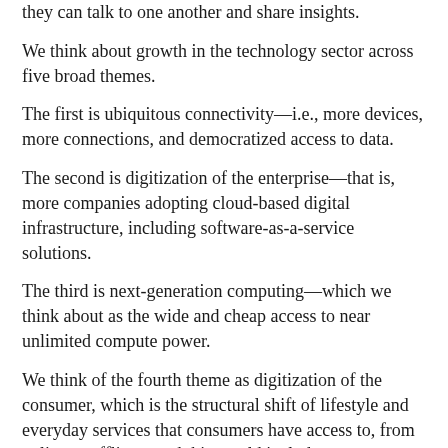they can talk to one another and share insights.
We think about growth in the technology sector across five broad themes.
The first is ubiquitous connectivity—i.e., more devices, more connections, and democratized access to data.
The second is digitization of the enterprise—that is, more companies adopting cloud-based digital infrastructure, including software-as-a-service solutions.
The third is next-generation computing—which we think about as the wide and cheap access to near unlimited compute power.
We think of the fourth theme as digitization of the consumer, which is the structural shift of lifestyle and everyday services that consumers have access to, from online to offline—and this would include entertainment, classifieds, food delivery, ride hailing, payments, so on and so forth.